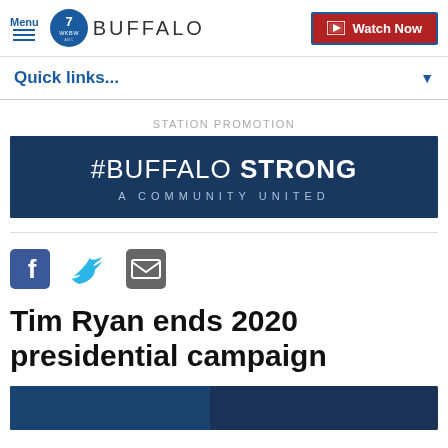Menu | 7 WKBW BUFFALO | Watch Now
Quick links...
STATION PROMOTION
[Figure (illustration): #BUFFALO STRONG A COMMUNITY UNITED promotional banner with dark blue background and crowd imagery]
[Figure (other): Social share icons: Facebook, Twitter, Email]
Tim Ryan ends 2020 presidential campaign
[Figure (photo): Partial blue-toned photo at bottom of page]